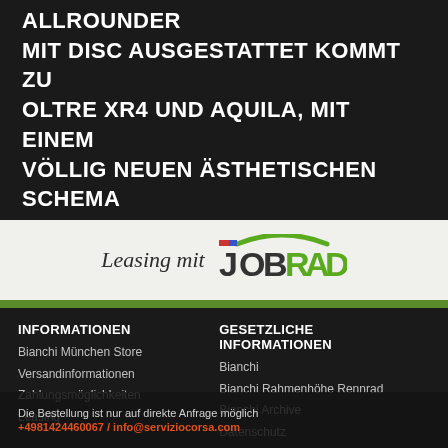NEUER SPECIALISSIMA-ALLROUNDER MIT DISC AUSGESTATTET KOMMT ZU OLTRE XR4 UND AQUILA, MIT EINEM VÖLLIG NEUEN ÄSTHETISCHEN SCHEMA AUF DER GANZEN LINIE.
[Figure (logo): Leasing mit JOBRAD logo — italic serif 'Leasing mit' text alongside JOBRAD brand logo with green arch above]
INFORMATIONEN
Bianchi München Store
Versandinformationen
Zahlungsmöglichkeiten
Leasing
GESETZLICHE INFORMATIONEN
Bianchi
Bianchi Rahmenhöhe Rennrad
Bianchi Archive
Datenschutz
Die Bestellung ist nur auf direkte Anfrage möglich
+4981424460067 / info@serviziocorsa.com